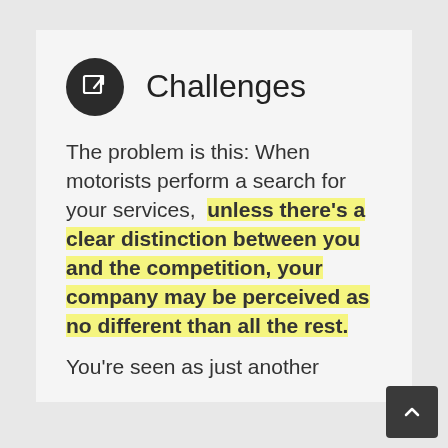Challenges
The problem is this: When motorists perform a search for your services, unless there's a clear distinction between you and the competition, your company may be perceived as no different than all the rest.
You're seen as just another